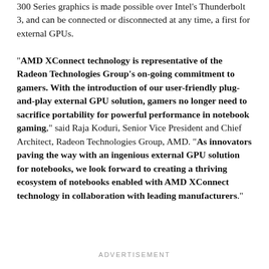300 Series graphics is made possible over Intel's Thunderbolt 3, and can be connected or disconnected at any time, a first for external GPUs.

"AMD XConnect technology is representative of the Radeon Technologies Group's on-going commitment to gamers. With the introduction of our user-friendly plug-and-play external GPU solution, gamers no longer need to sacrifice portability for powerful performance in notebook gaming," said Raja Koduri, Senior Vice President and Chief Architect, Radeon Technologies Group, AMD. "As innovators paving the way with an ingenious external GPU solution for notebooks, we look forward to creating a thriving ecosystem of notebooks enabled with AMD XConnect technology in collaboration with leading manufacturers."
ADVERTISEMENT